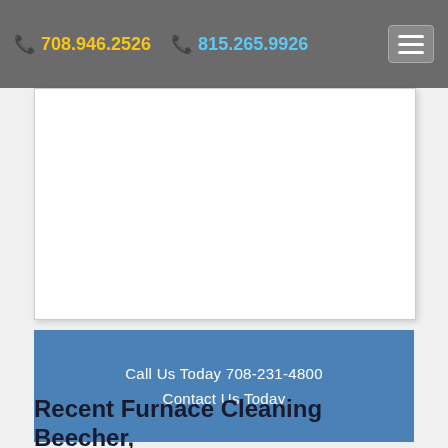708.946.2526   815.265.9926
[Figure (other): White empty content box with border and shadow]
Call Us Today 708-231-4800
Contact Us Today
Recent Furnace Cleaning Beecher, Illinois & II SERVICES INC